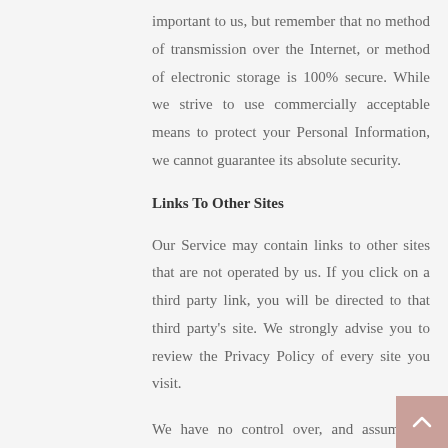important to us, but remember that no method of transmission over the Internet, or method of electronic storage is 100% secure. While we strive to use commercially acceptable means to protect your Personal Information, we cannot guarantee its absolute security.
Links To Other Sites
Our Service may contain links to other sites that are not operated by us. If you click on a third party link, you will be directed to that third party's site. We strongly advise you to review the Privacy Policy of every site you visit.
We have no control over, and assume no responsibility for the content, privacy policies or practices of any third party sites or services.